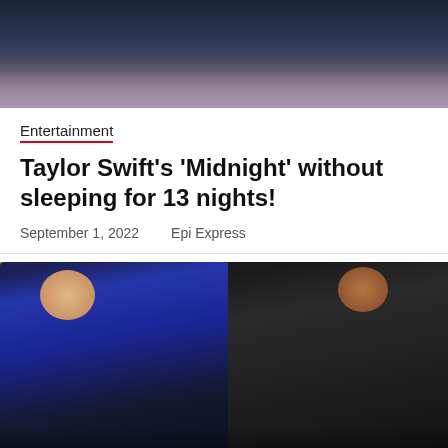[Figure (photo): Cropped top portion of photo showing people at what appears to be an awards show, with a woman in a sparkly/sequined outfit visible among a crowd]
Entertainment
Taylor Swift's 'Midnight' without sleeping for 13 nights!
September 1, 2022    Epi Express
[Figure (photo): Photo of two men at what appears to be the Oscars — one man in a blue velvet suit leaning forward and another man in a dark suit, depicting a famous slap incident]
Lifestyle